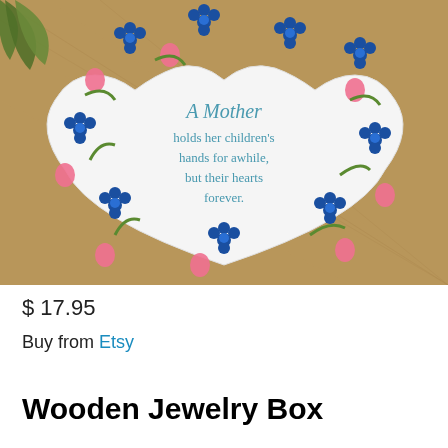[Figure (photo): A white ceramic heart-shaped jewelry box decorated with blue flowers and pink hearts, inscribed with the text: 'A Mother holds her children's hands for awhile, but their hearts forever.' The box sits on a burlap background with greenery visible in the top left corner.]
$ 17.95
Buy from Etsy
Wooden Jewelry Box